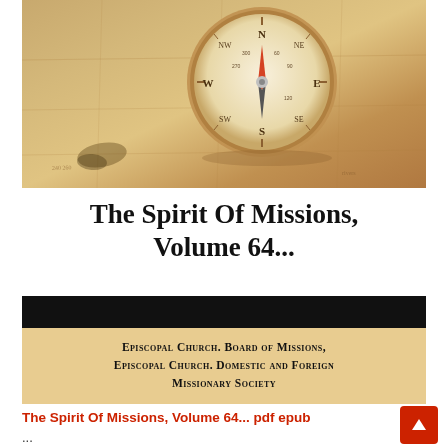[Figure (photo): Book cover image showing a vintage compass resting on an old map with sepia tones. The cover displays the title 'The Spirit Of Missions, Volume 64...' in bold serif font, and below a black bar and tan area showing publisher text: 'Episcopal Church. Board of Missions, Episcopal Church. Domestic and Foreign Missionary Society']
The Spirit Of Missions, Volume 64... pdf epub
...